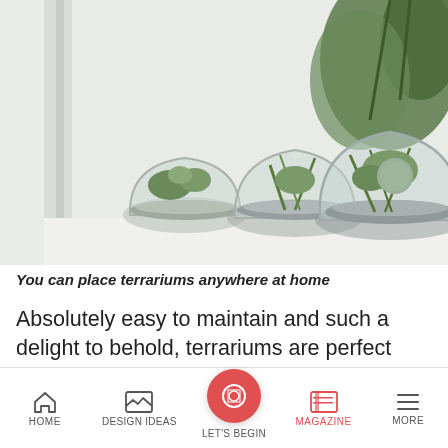[Figure (photo): Three round glass terrariums with succulents and cacti on a white windowsill, with greenery in the background]
You can place terrariums anywhere at home
Absolutely easy to maintain and such a delight to behold, terrariums are perfect solutions for those are busy yet want to create a little oasis in their urban abode. For
HOME   DESIGN IDEAS   LET'S BEGIN   MAGAZINE   MORE